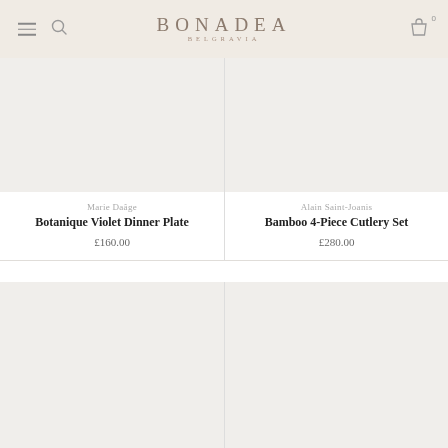BONADEA BELGRAVIA
[Figure (photo): Product image placeholder for Botanique Violet Dinner Plate - light grey/beige background]
Marie Daâge
Botanique Violet Dinner Plate
£160.00
[Figure (photo): Product image placeholder for Bamboo 4-Piece Cutlery Set - light grey/beige background]
Alain Saint-Joanis
Bamboo 4-Piece Cutlery Set
£280.00
[Figure (photo): Product image placeholder bottom left - light grey background]
[Figure (photo): Product image placeholder bottom right - light grey background]